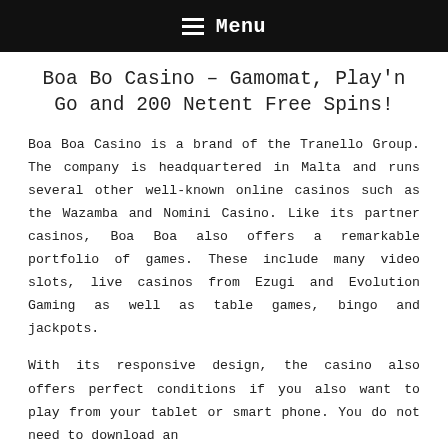Menu
Boa Bo Casino – Gamomat, Play'n Go and 200 Netent Free Spins!
Boa Boa Casino is a brand of the Tranello Group. The company is headquartered in Malta and runs several other well-known online casinos such as the Wazamba and Nomini Casino. Like its partner casinos, Boa Boa also offers a remarkable portfolio of games. These include many video slots, live casinos from Ezugi and Evolution Gaming as well as table games, bingo and jackpots.
With its responsive design, the casino also offers perfect conditions if you also want to play from your tablet or smart phone. You do not need to download an